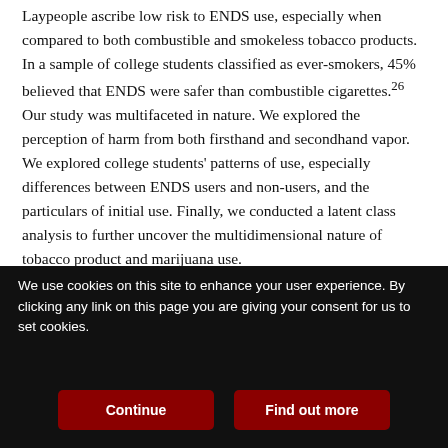Laypeople ascribe low risk to ENDS use, especially when compared to both combustible and smokeless tobacco products. In a sample of college students classified as ever-smokers, 45% believed that ENDS were safer than combustible cigarettes.26 Our study was multifaceted in nature. We explored the perception of harm from both firsthand and secondhand vapor. We explored college students' patterns of use, especially differences between ENDS users and non-users, and the particulars of initial use. Finally, we conducted a latent class analysis to further uncover the multidimensional nature of tobacco product and marijuana use.
QUICK LOOK
We use cookies on this site to enhance your user experience. By clicking any link on this page you are giving your consent for us to set cookies.